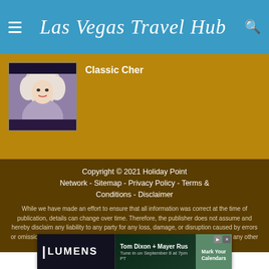Las Vegas Travel Hub
Classic Cher
[Figure (photo): Portrait photo of Cher with light wavy hair against dark background]
Copyright © 2021 Holiday Point Network - Sitemap - Privacy Policy - Terms & Conditions - Disclaimer

While we have made an effort to ensure that all information was correct at the time of publication, details can change over time. Therefore, the publisher does not assume and hereby disclaim any liability to any party for any loss, damage, or disruption caused by errors or omissions, whether such errors or omissions result from negligence, accident, or any other cause.
[Figure (screenshot): Lumens advertisement banner: Tom Dixon + Mayer Rus, Tune in on September 8 at 7pm PT, Mark Your Calendars]